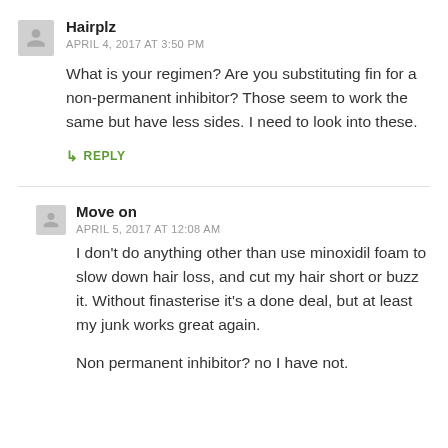Hairplz
APRIL 4, 2017 AT 3:50 PM
What is your regimen? Are you substituting fin for a non-permanent inhibitor? Those seem to work the same but have less sides. I need to look into these.
↳ REPLY
Move on
APRIL 5, 2017 AT 12:08 AM
I don't do anything other than use minoxidil foam to slow down hair loss, and cut my hair short or buzz it. Without finasterise it's a done deal, but at least my junk works great again.
Non permanent inhibitor? no I have not.